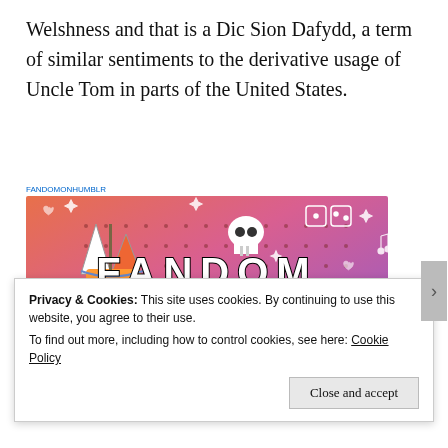Welshness and that is a Dic Sion Dafydd, a term of similar sentiments to the derivative usage of Uncle Tom in parts of the United States.
[Figure (illustration): Colorful promotional image for 'Fandom on Tumblr' with orange-to-purple gradient background, whimsical doodle icons (sailboat, skull, dice, creatures), and bold text reading FANDOM ON tumblr]
Privacy & Cookies: This site uses cookies. By continuing to use this website, you agree to their use.
To find out more, including how to control cookies, see here: Cookie Policy